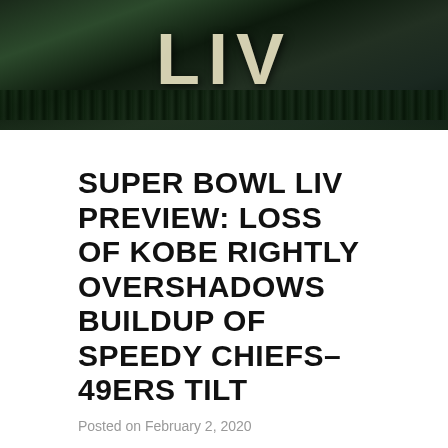[Figure (photo): Aerial/wide-angle night photo of Super Bowl LIV venue with large 'LIV' letters lit up against a dark green-tinted sky and crowd below]
SUPER BOWL LIV PREVIEW: LOSS OF KOBE RIGHTLY OVERSHADOWS BUILDUP OF SPEEDY CHIEFS-49ERS TILT
Posted on February 2, 2020
After a fun-filled season, two teams worthy of the biggest game of the NFL's historic 100th season remain.
Super Bowl 54. The Kansas City Chiefs versus the San Francisco 49ers.